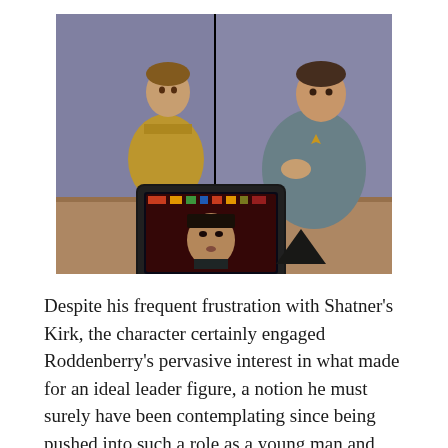[Figure (photo): A black-and-white/color still from Star Trek The Original Series showing three characters: a man in a gold uniform (Captain Kirk/Shatner) seated in background left, a man in a teal/blue-grey uniform (McCoy) seated on the right touching his chest, and a third character (Sulu) visible on a viewscreen/monitor in the foreground center.]
Despite his frequent frustration with Shatner's Kirk, the character certainly engaged Roddenberry's pervasive interest in what made for an ideal leader figure, a notion he must surely have been contemplating since being pushed into such a role as a young man and